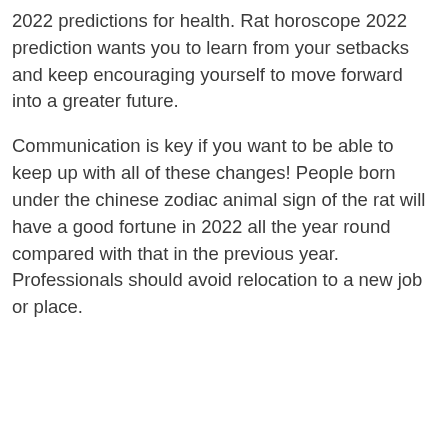2022 predictions for health. Rat horoscope 2022 prediction wants you to learn from your setbacks and keep encouraging yourself to move forward into a greater future.
Communication is key if you want to be able to keep up with all of these changes! People born under the chinese zodiac animal sign of the rat will have a good fortune in 2022 all the year round compared with that in the previous year. Professionals should avoid relocation to a new job or place.